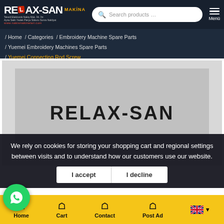[Figure (logo): RELAX-SAN MAKİNA logo with text and website URL www.nakismakinelari.com]
Search products …
Menü
/ Home / Categories / Embroidery Machine Spare Parts / Yuemei Embroidery Machines Spare Parts / Yuemei Connecting Rod Screw
[Figure (photo): Product placeholder image showing RELAX-SAN text on gray background]
We rely on cookies for storing your shopping cart and regional settings between visits and to understand how our customers use our website.
I accept   I decline
[Figure (logo): WhatsApp contact button (green circle with phone icon)]
Home   Cart   Contact   Post Ad